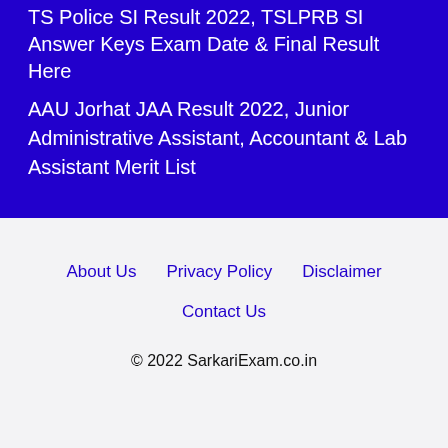TS Police SI Result 2022, TSLPRB SI Answer Keys Exam Date & Final Result Here
AAU Jorhat JAA Result 2022, Junior Administrative Assistant, Accountant & Lab Assistant Merit List
About Us
Privacy Policy
Disclaimer
Contact Us
© 2022 SarkariExam.co.in